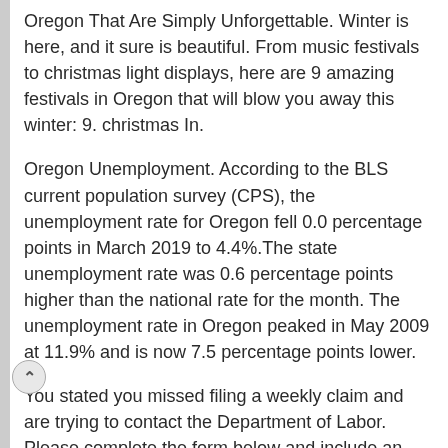Oregon That Are Simply Unforgettable. Winter is here, and it sure is beautiful. From music festivals to christmas light displays, here are 9 amazing festivals in Oregon that will blow you away this winter: 9. christmas In.
Oregon Unemployment. According to the BLS current population survey (CPS), the unemployment rate for Oregon fell 0.0 percentage points in March 2019 to 4.4%.The state unemployment rate was 0.6 percentage points higher than the national rate for the month. The unemployment rate in Oregon peaked in May 2009 at 11.9% and is now 7.5 percentage points lower.
You stated you missed filing a weekly claim and are trying to contact the Department of Labor. Please complete the form below and include an explanation of the.